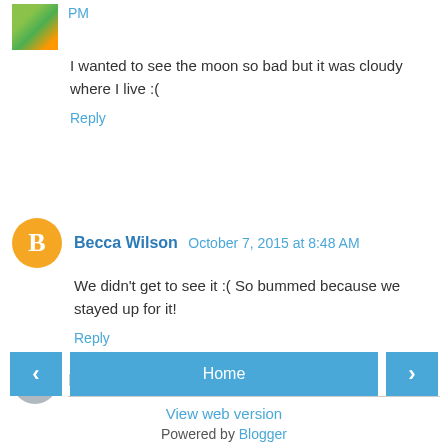PM
I wanted to see the moon so bad but it was cloudy where I live :(
Reply
Becca Wilson  October 7, 2015 at 8:48 AM
We didn't get to see it :( So bummed because we stayed up for it!
Reply
Enter Comment
Home
View web version
Powered by Blogger